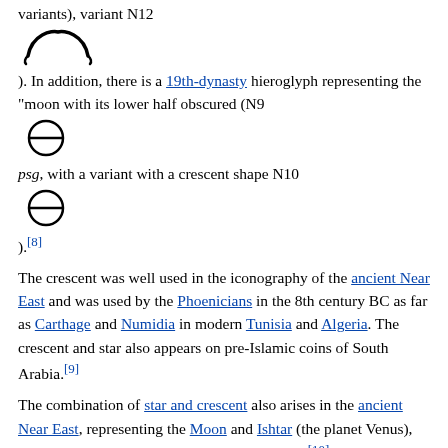variants), variant N12
[Figure (illustration): Hieroglyph: crescent shape (N12 variant) - arc with tails curving downward]
). In addition, there is a 19th-dynasty hieroglyph representing the "moon with its lower half obscured (N9
[Figure (illustration): Hieroglyph: circle with horizontal line through middle (N9) - moon with lower half obscured]
psg, with a variant with a crescent shape N10
[Figure (illustration): Hieroglyph: circle with horizontal line through middle (N10) - crescent shape variant]
).[8]
The crescent was well used in the iconography of the ancient Near East and was used by the Phoenicians in the 8th century BC as far as Carthage and Numidia in modern Tunisia and Algeria. The crescent and star also appears on pre-Islamic coins of South Arabia.[9]
The combination of star and crescent also arises in the ancient Near East, representing the Moon and Ishtar (the planet Venus), often combined into a triad with the solar disk.[10] It was inherited both in Sassanian and Hellenistic iconography.
Classical antiquity
Selene, the moon goddess, was depicted with a crescent upon her